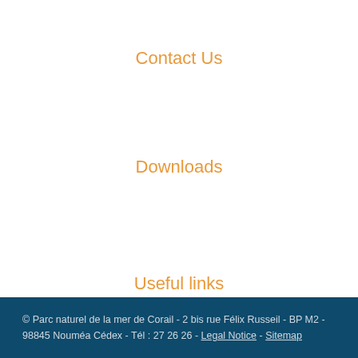Contact Us
Downloads
Useful links
© Parc naturel de la mer de Corail - 2 bis rue Félix Russeil - BP M2 - 98845 Nouméa Cédex - Tél : 27 26 26 - Legal Notice - Sitemap